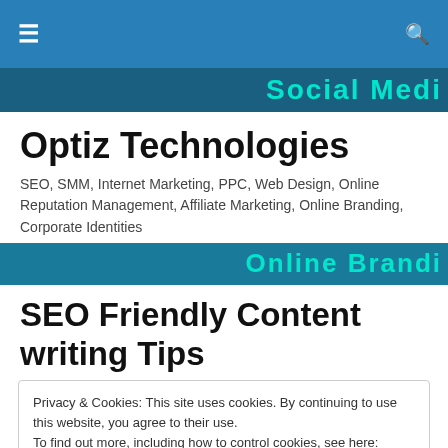≡  🔍
[Figure (screenshot): Teal/cyan text partially visible on dark blue banner strip reading 'Social Medi...']
Optiz Technologies
SEO, SMM, Internet Marketing, PPC, Web Design, Online Reputation Management, Affiliate Marketing, Online Branding, Corporate Identities
[Figure (screenshot): Teal/cyan text partially visible on dark teal banner strip reading 'Online Branding...']
SEO Friendly Content writing Tips
Privacy & Cookies: This site uses cookies. By continuing to use this website, you agree to their use.
To find out more, including how to control cookies, see here: Cookie Policy
Close and accept
content is and always will be one of the safest ways to get